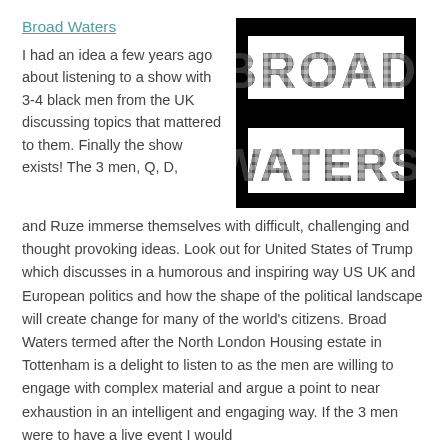Broad Waters
[Figure (logo): Broad Waters podcast logo: black background with two white rectangular bands containing the words BROAD and WATERS in large bold black letters with a photographic texture inside the letterforms.]
I had an idea a few years ago about listening to a show with 3-4 black men from the UK discussing topics that mattered to them. Finally the show exists! The 3 men, Q, D, and Ruze immerse themselves with difficult, challenging and thought provoking ideas. Look out for United States of Trump which discusses in a humorous and inspiring way US UK and European politics and how the shape of the political landscape will create change for many of the world's citizens. Broad Waters termed after the North London Housing estate in Tottenham is a delight to listen to as the men are willing to engage with complex material and argue a point to near exhaustion in an intelligent and engaging way. If the 3 men were to have a live event I would